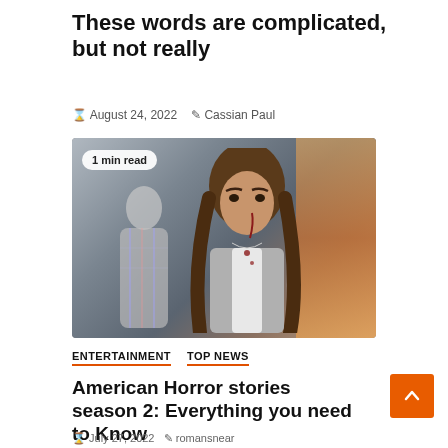These words are complicated, but not really
August 24, 2022   Cassian Paul
[Figure (photo): Two people in outdoor scene; woman with curly hair in foreground wearing white shirt and grey cardigan with blood on neck; man in plaid shirt blurred in background. Badge overlay reads '1 min read'.]
ENTERTAINMENT   TOP NEWS
American Horror stories season 2: Everything you need to Know
July 27, 2022   romansnear